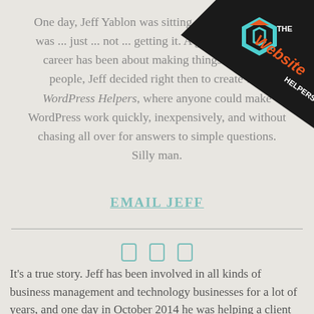[Figure (logo): The Website Helpers logo banner in top-right corner — black diagonal ribbon with teal hexagon icon, orange 'Website' text and 'THE HELPERS' text]
One day, Jeff Yablon was sitting with a client who was ... just ... not ... getting it. A guy whose entire career has been about making things easier for people, Jeff decided right then to create The WordPress Helpers, where anyone could make WordPress work quickly, inexpensively, and without chasing all over for answers to simple questions. Silly man.
EMAIL JEFF
It's a true story. Jeff has been involved in all kinds of business management and technology businesses for a lot of years, and one day in October 2014 he was helping a client get a WordPress site up and running. WordPress doesn't have to be very challenging technologically, and sure enough, this client wasn't having technical trouble at all. What she was struggling over was getting the supposedly